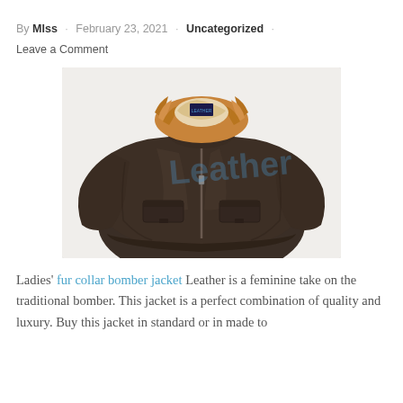By Mlss · February 23, 2021 · Uncategorized · Leave a Comment
[Figure (photo): A dark brown leather ladies fur collar bomber jacket displayed on a model torso with a watermark reading 'Leather' across the front.]
Ladies' fur collar bomber jacket Leather is a feminine take on the traditional bomber. This jacket is a perfect combination of quality and luxury. Buy this jacket in standard or in made to